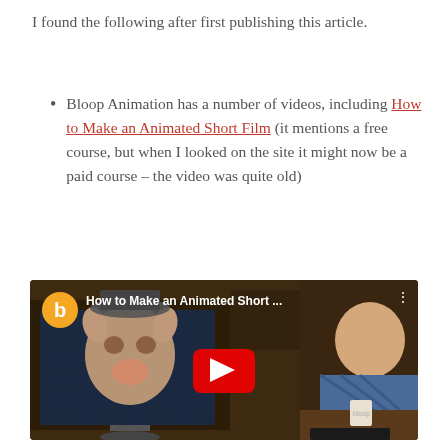I found the following after first publishing this article.
Bloop Animation has a number of videos, including How to Make an Animated Short Film (it mentions a free course, but when I looked on the site it might now be a paid course – the video was quite old)
[Figure (screenshot): YouTube video thumbnail for 'How to Make an Animated Short ...' from Bloop Animation, showing a 3D animated pig character on a monitor screen with a man sitting at a desk in the background. YouTube red play button in center.]